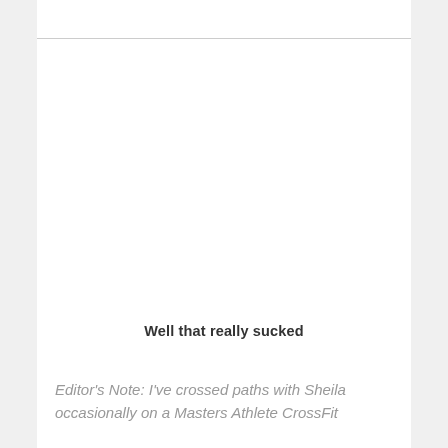Well that really sucked
Editor's Note: I've crossed paths with Sheila occasionally on a Masters Athlete CrossFit